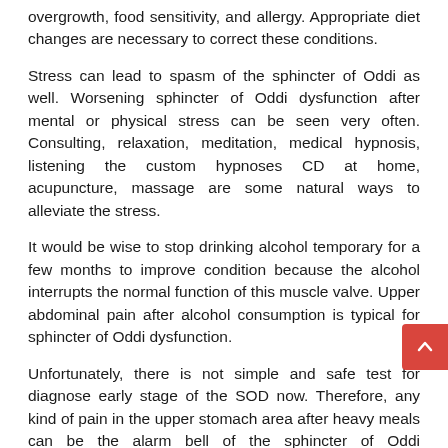overgrowth, food sensitivity, and allergy. Appropriate diet changes are necessary to correct these conditions.
Stress can lead to spasm of the sphincter of Oddi as well. Worsening sphincter of Oddi dysfunction after mental or physical stress can be seen very often. Consulting, relaxation, meditation, medical hypnosis, listening the custom hypnoses CD at home, acupuncture, massage are some natural ways to alleviate the stress.
It would be wise to stop drinking alcohol temporary for a few months to improve condition because the alcohol interrupts the normal function of this muscle valve. Upper abdominal pain after alcohol consumption is typical for sphincter of Oddi dysfunction.
Unfortunately, there is not simple and safe test for diagnose early stage of the SOD now. Therefore, any kind of pain in the upper stomach area after heavy meals can be the alarm bell of the sphincter of Oddi dysfunction.
By author's opinion, strategic position of the sphincter of Oddi is it is a mediating disc or me d is l...